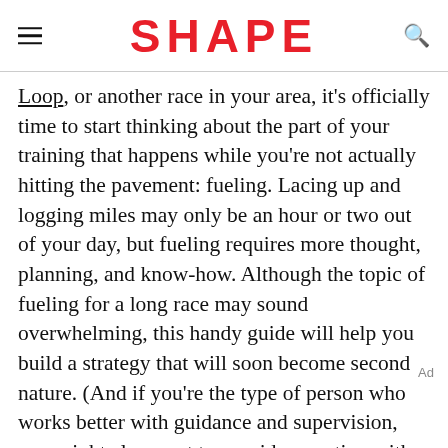SHAPE
Loop, or another race in your area, it's officially time to start thinking about the part of your training that happens while you're not actually hitting the pavement: fueling. Lacing up and logging miles may only be an hour or two out of your day, but fueling requires more thought, planning, and know-how. Although the topic of fueling for a long race may sound overwhelming, this handy guide will help you build a strategy that will soon become second nature. (And if you're the type of person who works better with guidance and supervision, you might also want to consider meeting with a sports dietitian in your area.)